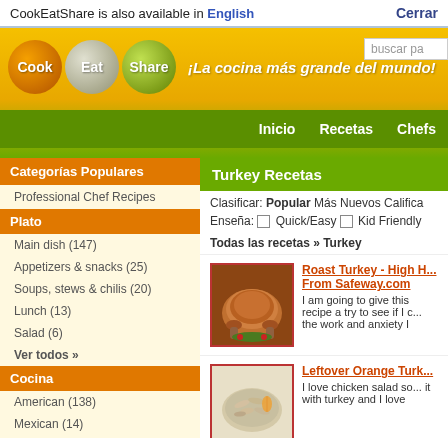CookEatShare is also available in English  Cerrar
[Figure (logo): CookEatShare logo with three colored orbs (Cook, Eat, Share) and tagline ¡La cocina más grande del mundo!]
Inicio  Recetas  Chefs
Categorías Populares
Professional Chef Recipes
Plato
Main dish (147)
Appetizers & snacks (25)
Soups, stews & chilis (20)
Lunch (13)
Salad (6)
Ver todos »
Cocina
American (138)
Mexican (14)
Italian (13)
Croatian (7)
Turkey Recetas
Clasificar:  Popular  Más Nuevos  Califica
Enseña:  Quick/Easy  Kid Friendly
Todas las recetas » Turkey
[Figure (photo): Roast turkey photo]
Roast Turkey - High H... From Safeway.com
I am going to give this recipe a try to see if I c... the work and anxiety I
[Figure (photo): Leftover Orange Turkey salad photo]
Leftover Orange Turk...
I love chicken salad so... it with turkey and I love